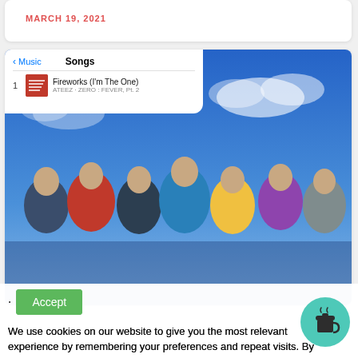MARCH 19, 2021
[Figure (screenshot): Screenshot of Apple Music app showing Fireworks (I'm The One) by ATEEZ as #1 song, overlaid on a photo of ATEEZ K-pop group posing in front of a blue sky background]
Accept
We use cookies on our website to give you the most relevant experience by remembering your preferences and repeat visits. By clicking "Accept All", you consent to the use of ALL the cookies.